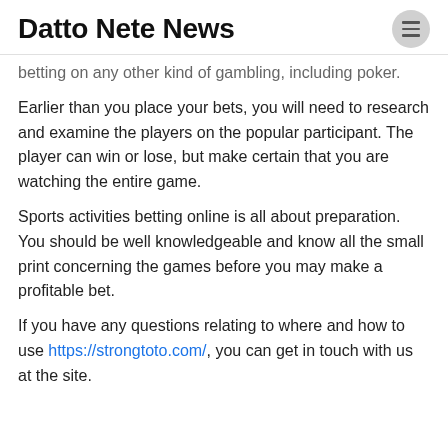Datto Nete News
betting on any other kind of gambling, including poker.
Earlier than you place your bets, you will need to research and examine the players on the popular participant. The player can win or lose, but make certain that you are watching the entire game.
Sports activities betting online is all about preparation. You should be well knowledgeable and know all the small print concerning the games before you may make a profitable bet.
If you have any questions relating to where and how to use https://strongtoto.com/, you can get in touch with us at the site.